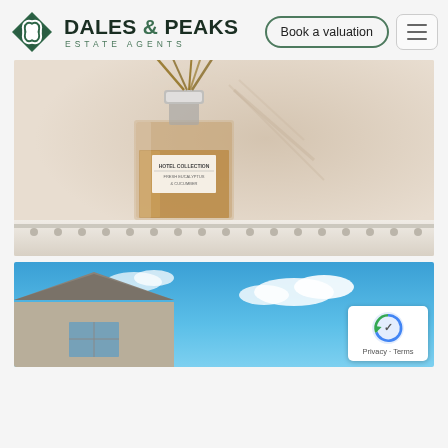[Figure (logo): Dales & Peaks Estate Agents logo with diamond-shaped leaf icon in teal/green colors]
Book a valuation
[Figure (photo): A glass perfume/reed diffuser bottle with amber liquid on a white shelf, soft natural lighting]
[Figure (photo): Partial view of a stone building roofline against a bright blue sky with white clouds, with reCAPTCHA badge overlay showing Privacy and Terms text]